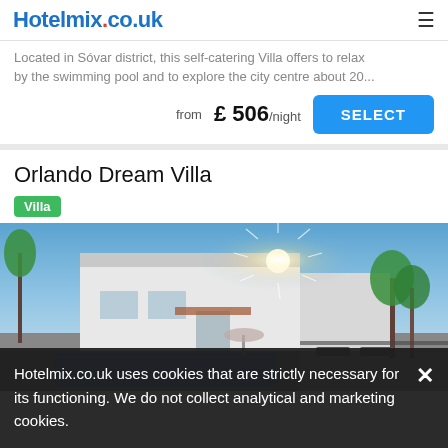Hotelmix.co.uk
Located in Sóvar district, this self-catering Villa offers to relax by the swimming pool and to explore the city centre about 20...
from £ 506/night
Orlando Dream Villa
Villa
[Figure (photo): Exterior photo of Orlando Dream Villa showing a white two-story villa with a swimming pool, sun loungers, palm trees, and bright sunburst in a clear blue sky.]
Hotelmix.co.uk uses cookies that are strictly necessary for its functioning. We do not collect analytical and marketing cookies.